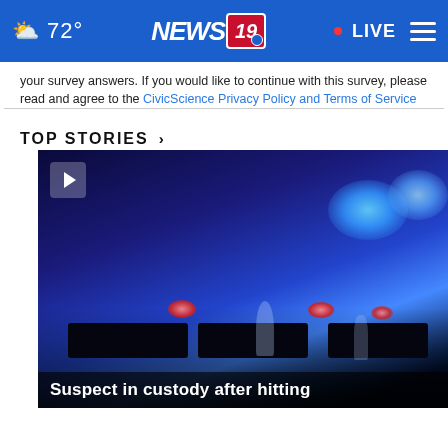72° NEWS 19 • LIVE
your survey answers. If you would like to continue with this survey, please read and agree to the CivicScience Privacy Policy and Terms of Service
TOP STORIES ›
[Figure (photo): Night-time police scene with flashing blue and red lights from multiple police vehicles, silhouettes of figures visible. Video thumbnail with play button.]
Suspect in custody after hitting